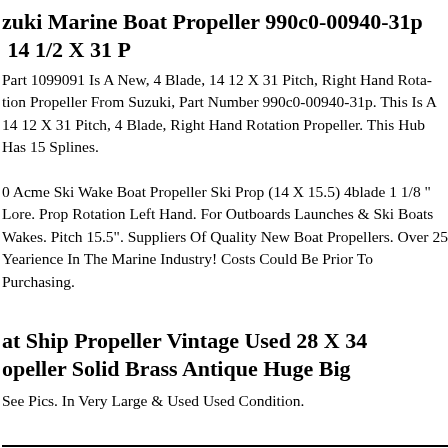Suzuki Marine Boat Propeller 990c0-00940-31p 14 1/2 X 31 P
Part 1099091 Is A New, 4 Blade, 14 12 X 31 Pitch, Right Hand Rotation Propeller From Suzuki, Part Number 990c0-00940-31p. This Is A 14 12 X 31 Pitch, 4 Blade, Right Hand Rotation Propeller. This Hub Has 15 Splines.
Acme Ski Wake Boat Propeller Ski Prop (14 X 15.5) 4blade 1 1/8 " Bore. Prop Rotation Left Hand. For Outboards Launches & Ski Boats Wake Boats. Pitch 15.5". Suppliers Of Quality New Boat Propellers. Over 25 Years Experience In The Marine Industry! Costs Could Be Prior To Purchasing.
Boat Ship Propeller Vintage Used 28 X 34 Propeller Solid Brass Antique Huge Big
See Pics. In Very Large & Used Used Condition.
urisors Boat Propeller Shaft Strut Y2212000...